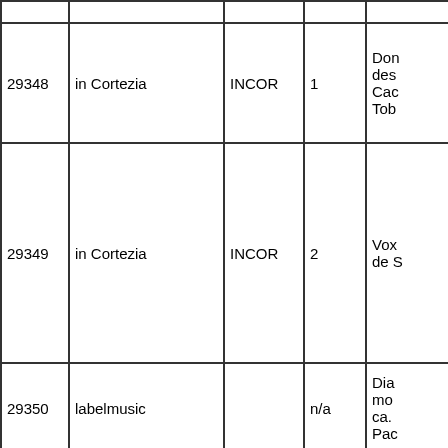|  |  |  |  |  |
| 29348 | in Cortezia | INCOR | 1 | Don des Cac Tob |
| 29349 | in Cortezia | INCOR | 2 | Vox de S |
| 29350 | labelmusic |  | n/a | Dia mo ca. Pac |
| 29351 | musik exquisit records | MEX | 1608 | Die sing |